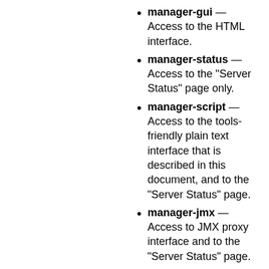manager-gui — Access to the HTML interface.
manager-status — Access to the "Server Status" page only.
manager-script — Access to the tools-friendly plain text interface that is described in this document, and to the "Server Status" page.
manager-jmx — Access to JMX proxy interface and to the "Server Status" page.
The HTML interface is protected against CSRF (Cross-Site Request Forgery) attacks, but the text and JMX interfaces cannot be protected. It means that users who are allowed access to the text and JMX